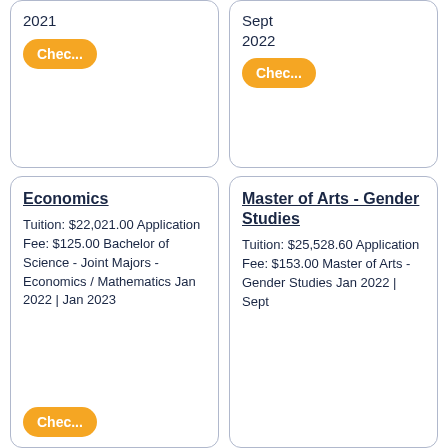2021
Chec...
Sept
2022
Chec...
Economics
Tuition: $22,021.00 Application Fee: $125.00 Bachelor of Science - Joint Majors - Economics / Mathematics Jan 2022 | Jan 2023
Master of Arts - Gender Studies
Tuition: $25,528.60 Application Fee: $153.00 Master of Arts - Gender Studies Jan 2022 | Sept